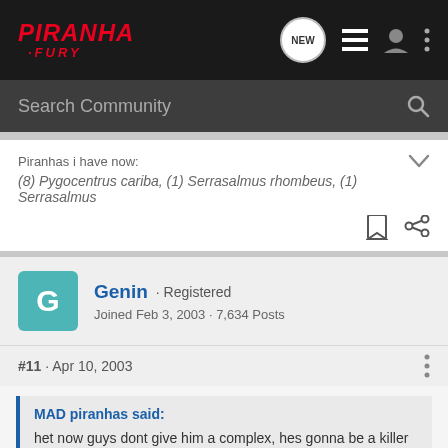PIRANHA FURY
Search Community
Piranhas i have now:
(8) Pygocentrus cariba, (1) Serrasalmus rhombeus, (1) Serrasalmus
Genin · Registered
Joined Feb 3, 2003 · 7,634 Posts
#11 · Apr 10, 2003
MAD piranhas said:
het now guys dont give him a complex, hes gonna be a killer someday lol j/k

MAD